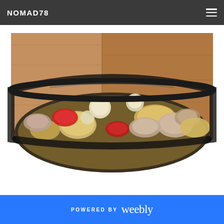NOMAD78
[Figure (photo): A cast iron skillet pan viewed from above containing chicken pieces, potato wedges, red bell pepper chunks, and whole small onions cooked together, set on a wooden surface background]
POWERED BY weebly